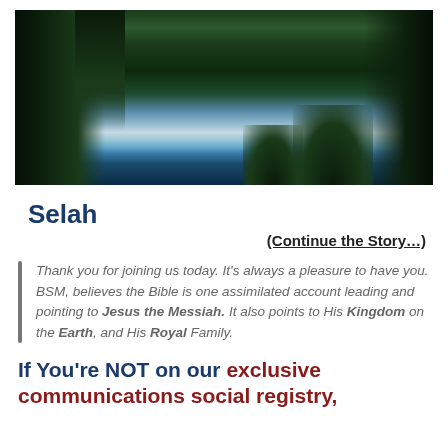[Figure (photo): Landscape photo of a mountain lake surrounded by evergreen trees with reflections of clouds and sky in the still water]
Selah
(Continue the Story...)
Thank you for joining us today. It's always a pleasure to have you. BSM, believes the Bible is one assimilated account leading and pointing to Jesus the Messiah. It also points to His Kingdom on the Earth, and His Royal Family.
If You're NOT on our exclusive communications social registry,